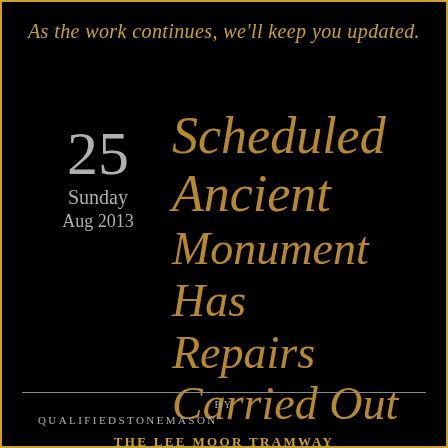As the work continues, we'll keep you updated.
25
Sunday
Aug 2013
Scheduled Ancient Monument Has Repairs Carried Out
BY
QUALIFIEDSTONEMASON
THE LEE MOOR TRAMWAY BRIDGE.